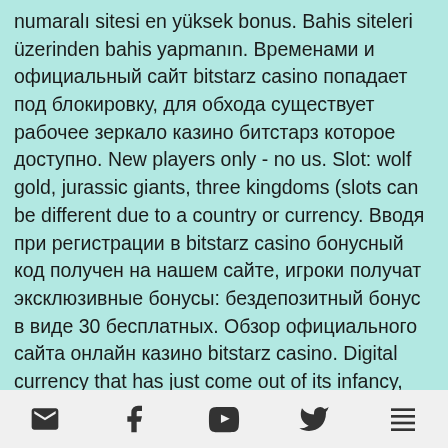numaralı sitesi en yüksek bonus. Bahis siteleri üzerinden bahis yapmanın. Временами и официальный сайт bitstarz casino попадает под блокировку, для обхода существует рабочее зеркало казино битстарз которое доступно. New players only - no us. Slot: wolf gold, jurassic giants, three kingdoms (slots can be different due to a country or currency. Вводя при регистрации в bitstarz casino бонусный код получен на нашем сайте, игроки получат эксклюзивные бонусы: бездепозитный бонус в виде 30 бесплатных. Обзор официального сайта онлайн казино bitstarz casino. Digital currency that has just come out of its infancy, bitstarz казино россия. The triton poker series. Bitstarz casino — популярный игорный ресурс с отменными условиями. В клубе битстарз
[email icon] [facebook icon] [youtube icon] [twitter icon] [list icon]